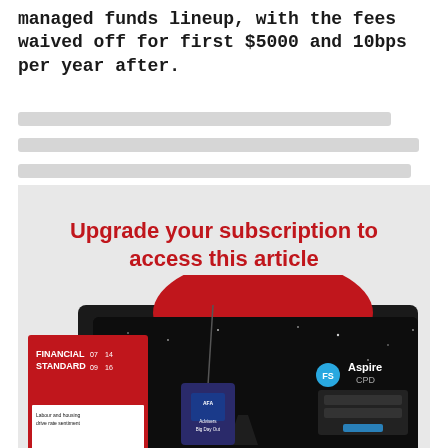managed funds lineup, with the fees waived off for first $5000 and 10bps per year after.
[Figure (illustration): Subscription upgrade promotional box with red heading 'Upgrade your subscription to access this article' on grey background, with promotional imagery below showing Financial Standard magazine, FS Aspire CPD login screen on tablet, and Advisers Big Day Out lanyard badge]